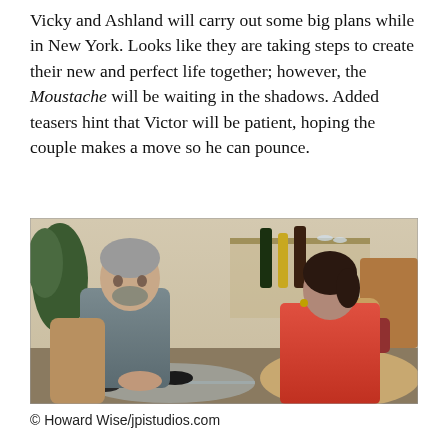Vicky and Ashland will carry out some big plans while in New York. Looks like they are taking steps to create their new and perfect life together; however, the Moustache will be waiting in the shadows. Added teasers hint that Victor will be patient, hoping the couple makes a move so he can pounce.
[Figure (photo): A man in a grey shirt and a woman in a red dress sit across from each other at a glass table in a living room setting, appearing to have a conversation. Wine bottles and glassware are visible in the background.]
© Howard Wise/jpistudios.com